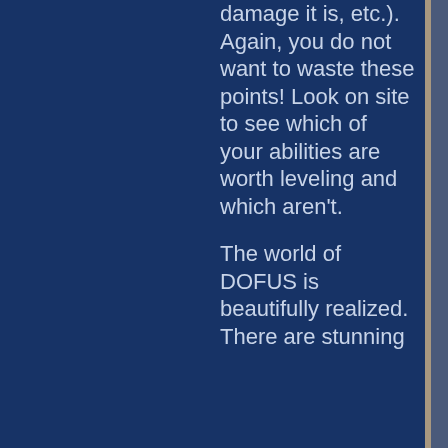damage it is, etc.). Again, you do not want to waste these points! Look on site to see which of your abilities are worth leveling and which aren't.
The world of DOFUS is beautifully realized. There are stunning